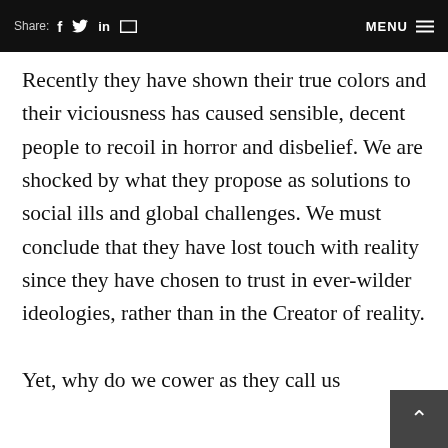Share: f [twitter] in [mail]   MENU ≡
Recently they have shown their true colors and their viciousness has caused sensible, decent people to recoil in horror and disbelief. We are shocked by what they propose as solutions to social ills and global challenges. We must conclude that they have lost touch with reality since they have chosen to trust in ever-wilder ideologies, rather than in the Creator of reality.
Yet, why do we cower as they call us